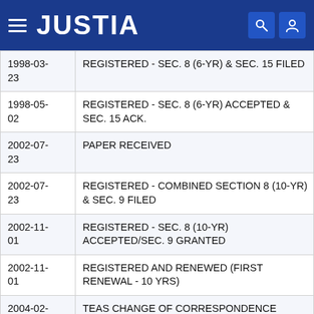JUSTIA
| Date | Description |
| --- | --- |
| 1998-03-23 | REGISTERED - SEC. 8 (6-YR) & SEC. 15 FILED |
| 1998-05-02 | REGISTERED - SEC. 8 (6-YR) ACCEPTED & SEC. 15 ACK. |
| 2002-07-23 | PAPER RECEIVED |
| 2002-07-23 | REGISTERED - COMBINED SECTION 8 (10-YR) & SEC. 9 FILED |
| 2002-11-01 | REGISTERED - SEC. 8 (10-YR) ACCEPTED/SEC. 9 GRANTED |
| 2002-11-01 | REGISTERED AND RENEWED (FIRST RENEWAL - 10 YRS) |
| 2004-02-03 | TEAS CHANGE OF CORRESPONDENCE RECEIVED |